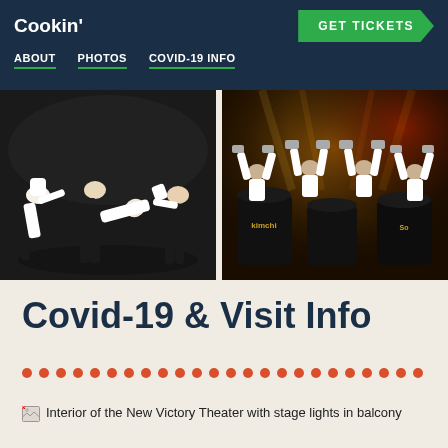Cookin'
GET TICKETS
ABOUT  PHOTOS  COVID-19 INFO
[Figure (photo): Two performers in chef uniforms doing acrobatic moves on a dark stage]
[Figure (photo): Performers with arms raised holding something above large barrels labeled 'Kimchi' under colorful stage lights]
Covid-19 & Visit Info
Interior of the New Victory Theater with stage lights in balcony